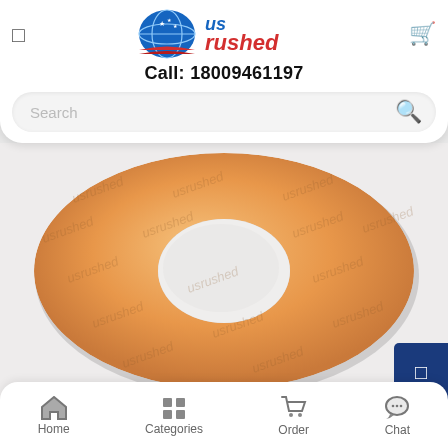[Figure (logo): US Rushed company logo with globe/swoosh graphic and red/blue text]
Call: 18009461197
Search
[Figure (photo): Donut-shaped orange/tan medical or industrial felt pad ring with hole in center, watermarked with 'usrushed' text throughout]
Home   Categories   Order   Chat